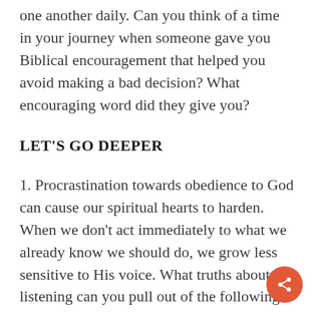one another daily. Can you think of a time in your journey when someone gave you Biblical encouragement that helped you avoid making a bad decision? What encouraging word did they give you?
LET'S GO DEEPER
1. Procrastination towards obedience to God can cause our spiritual hearts to harden. When we don't act immediately to what we already know we should do, we grow less sensitive to His voice. What truths about listening can you pull out of the following passage in James?